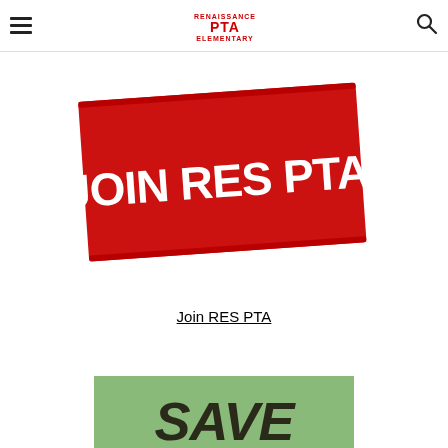Renaissance PTA Elementary — navigation header with hamburger menu and search icon
[Figure (logo): Red rectangular stamp-style graphic with white bold text reading JOIN RES PTA!]
Join RES PTA
[Figure (illustration): Green background banner with large dark bold italic text reading SAVE (partially visible at bottom of page)]